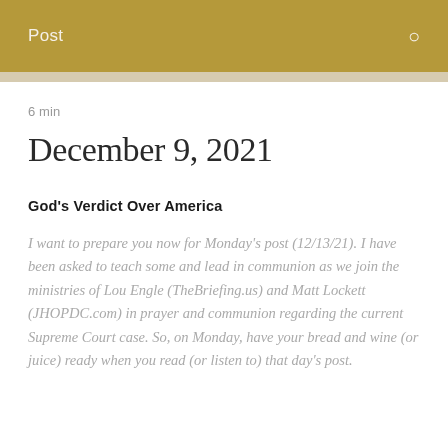Post
6 min
December 9, 2021
God's Verdict Over America
I want to prepare you now for Monday's post (12/13/21). I have been asked to teach some and lead in communion as we join the ministries of Lou Engle (TheBriefing.us) and Matt Lockett (JHOPDC.com) in prayer and communion regarding the current Supreme Court case. So, on Monday, have your bread and wine (or juice) ready when you read (or listen to) that day's post.